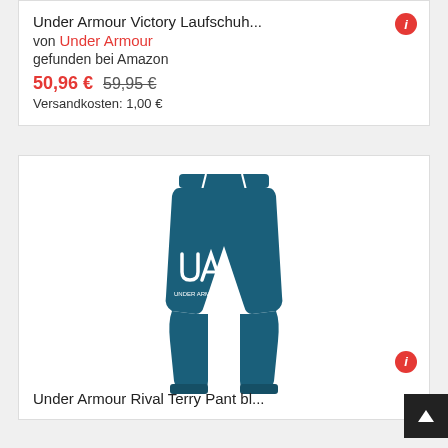Under Armour Victory Laufschuh...
von Under Armour
gefunden bei Amazon
50,96 € 59,95 €
Versandkosten: 1,00 €
[Figure (photo): Blue Under Armour Rival Terry Pant jogger trousers with white drawstring and white Under Armour logo on left leg]
Under Armour Rival Terry Pant bl...